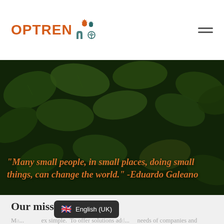OPTREN
[Figure (photo): Close-up photograph of green ginkgo biloba leaves with dark background overlay. Quote overlaid in orange italic bold text: "Many small people, in small places, doing small things, can change the world." -Eduardo Galeano]
Our mission
Ma... ex simple. To offer solutions ad... needs of companies and
English (UK)